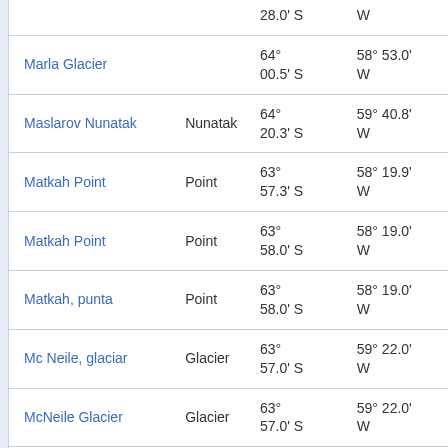| Name | Type | Latitude | Longitude |
| --- | --- | --- | --- |
|  |  | 28.0' S | W |
| Marla Glacier |  | 64° 00.5' S | 58° 53.0' W |
| Maslarov Nunatak | Nunatak | 64° 20.3' S | 59° 40.8' W |
| Matkah Point | Point | 63° 57.3' S | 58° 19.9' W |
| Matkah Point | Point | 63° 58.0' S | 58° 19.0' W |
| Matkah, punta | Point | 63° 58.0' S | 58° 19.0' W |
| Mc Neile, glaciar | Glacier | 63° 57.0' S | 59° 22.0' W |
| McNeile Glacier | Glacier | 63° 57.0' S | 59° 22.0' W |
| McNeile Glacier | Glacier | 63° | 59° 26.0' |